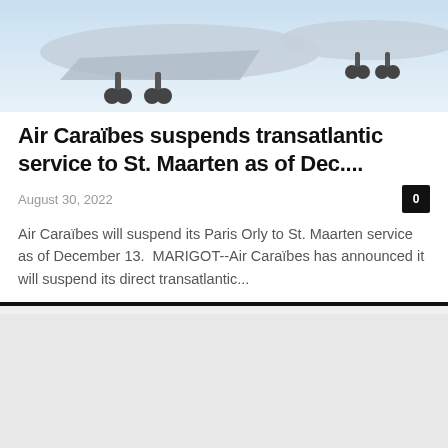[Figure (photo): Partial view of an airplane from below/front, showing landing gear and wing against a light sky background]
Air Caraïbes suspends transatlantic service to St. Maarten as of Dec....
August 30, 2022
0
Air Caraïbes will suspend its Paris Orly to St. Maarten service as of December 13.  MARIGOT--Air Caraïbes has announced it will suspend its direct transatlantic...
[Figure (photo): Second article image area, appears mostly blank/white]